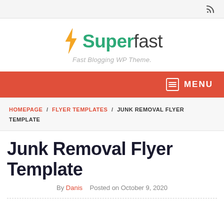RSS icon / top bar
[Figure (logo): Superfast logo with lightning bolt icon and tagline 'Fast Blogging WP Theme.']
MENU navigation bar
HOMEPAGE / FLYER TEMPLATES / JUNK REMOVAL FLYER TEMPLATE
Junk Removal Flyer Template
By Danis   Posted on October 9, 2020